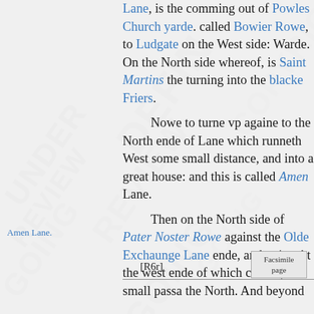Lane, is the comming out of Powles Church yarde. called Bowier Rowe, to Ludgate on the West side: Warde. On the North side whereof, is Saint Martins the turning into the blacke Friers.
Amen Lane.
Nowe to turne vp againe to the North ende of Lane which runneth West some small distance, and into a great house: and this is called Amen Lane.
Paniar Alley.
Then on the North side of Pater Noster Rowe against the Olde Exchaunge Lane ende, and going At the west ende of which church, is a small passage the North. And beyond this church some small distance is called Paniar-Alley: and commeth out against Sair
Iue Lane.
Then further West, in Pater Noster Rowe, is Iue the west ende of Saint Nicholas Shambles. And the ouer against the
[R6r]    Facsimile page